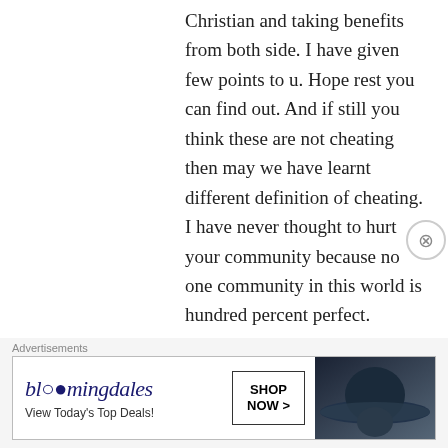Christian and taking benefits from both side. I have given few points to u. Hope rest you can find out. And if still you think these are not cheating then may we have learnt different definition of cheating. I have never thought to hurt your community because no one community in this world is hundred percent perfect.
★ Like
↳ Reply
sengeltiti on April 29, 2013 at 3:22 pm
Mukharjee mohasoy apnar santar der
[Figure (screenshot): Bloomingdale's advertisement banner: 'View Today's Top Deals! SHOP NOW >']